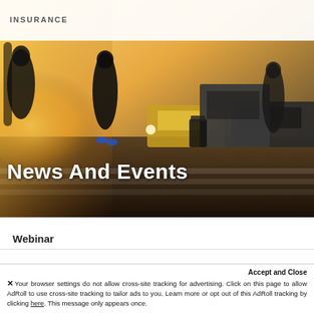[Figure (photo): Hero image of busy city street crossing with motion-blurred pedestrians and traffic in golden hour light, with 'News And Events' text overlay]
News And Events
Webinar
Accept and Close
✕ Your browser settings do not allow cross-site tracking for advertising. Click on this page to allow AdRoll to use cross-site tracking to tailor ads to you. Learn more or opt out of this AdRoll tracking by clicking here. This message only appears once.